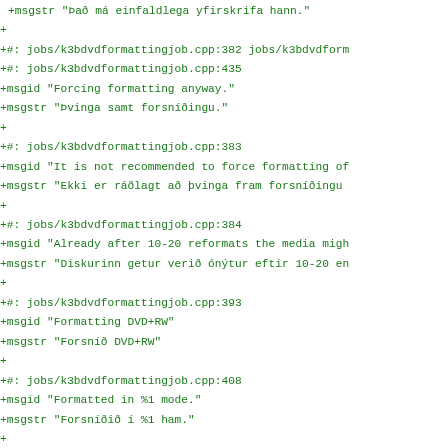+msgstr "Það má einfaldlega yfirskrifa hann."
+
+#: jobs/k3bdvdformattingjob.cpp:382 jobs/k3bdvdform
+#: jobs/k3bdvdformattingjob.cpp:435
+msgid "Forcing formatting anyway."
+msgstr "Þvinga samt forsníðingu."
+
+#: jobs/k3bdvdformattingjob.cpp:383
+msgid "It is not recommended to force formatting of
+msgstr "Ekki er ráðlagt að þvinga fram forsníðingu
+
+#: jobs/k3bdvdformattingjob.cpp:384
+msgid "Already after 10-20 reformats the media migh
+msgstr "Diskurinn getur verið ónýtur eftir 10-20 en
+
+#: jobs/k3bdvdformattingjob.cpp:393
+msgid "Formatting DVD+RW"
+msgstr "Forsníð DVD+RW"
+
+#: jobs/k3bdvdformattingjob.cpp:408
+msgid "Formatted in %1 mode."
+msgstr "Forsníðið í %1 ham."
+
+#: jobs/k3bdvdformattingjob.cpp:422
+msgid "Media is already empty."
+msgstr "Diskurinn er þegar tómur."
+
+#: jobs/k3bdvdformattingjob.cpp:450
+msgid "Formatting DVD-RW in %1 mode."
+msgstr "Forsníð DVD-RW í %1 ham."